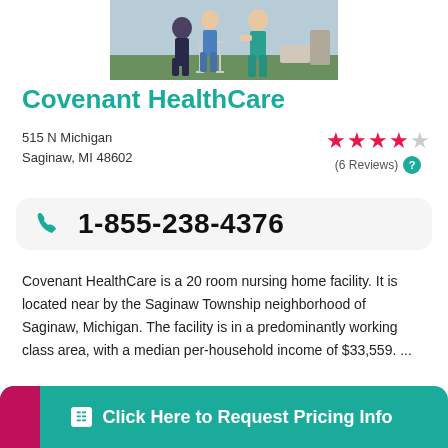[Figure (photo): Photo of nursing home caregivers helping an elderly patient with a walker, outdoors on a green lawn.]
Covenant HealthCare
515 N Michigan
Saginaw, MI 48602
[Figure (infographic): Star rating: 3 out of 5 stars filled (red/pink), 2 empty (gray). (6 Reviews) with teal question mark circle.]
1-855-238-4376
Covenant HealthCare is a 20 room nursing home facility. It is located near by the Saginaw Township neighborhood of Saginaw, Michigan. The facility is in a predominantly working class area, with a median per-household income of $33,559. ...
Click Here to Request Pricing Info